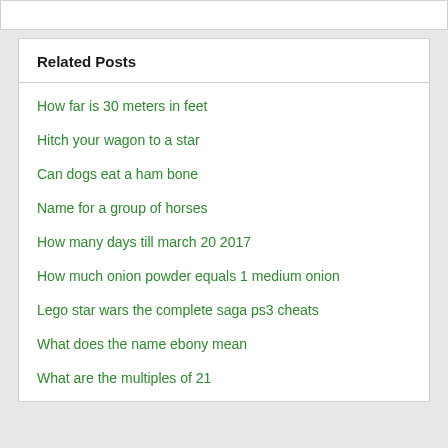Related Posts
How far is 30 meters in feet
Hitch your wagon to a star
Can dogs eat a ham bone
Name for a group of horses
How many days till march 20 2017
How much onion powder equals 1 medium onion
Lego star wars the complete saga ps3 cheats
What does the name ebony mean
What are the multiples of 21